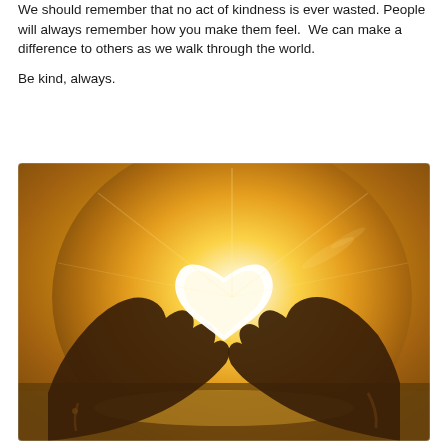We should remember that no act of kindness is ever wasted. People will always remember how you make them feel.  We can make a difference to others as we walk through the world.

Be kind, always.
[Figure (photo): Two hands forming a heart shape silhouetted against a bright golden sunset over water, with sunlight glowing through the heart shape formed by the fingers.]